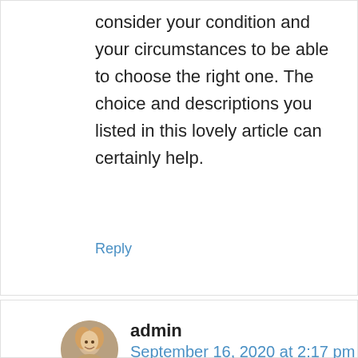consider your condition and your circumstances to be able to choose the right one. The choice and descriptions you listed in this lovely article can certainly help.
Reply
[Figure (photo): Circular avatar photo of a woman with blonde hair]
admin
September 16, 2020 at 2:17 pm